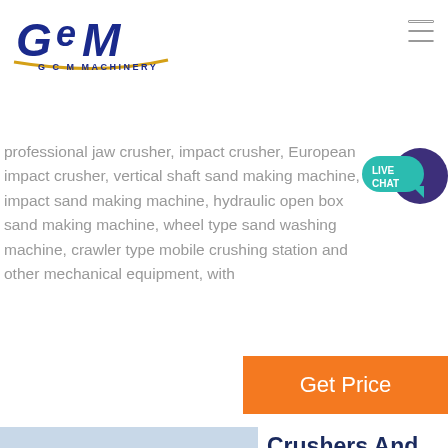[Figure (logo): GCM Machinery logo with stylized GCM letters in dark blue and gold underline, text G C M MACHINERY below]
professional jaw crusher, impact crusher, European impact crusher, vertical shaft sand making machine, impact sand making machine, hydraulic open box sand making machine, wheel type sand washing machine, crawler type mobile crushing station and other mechanical equipment, with
[Figure (other): Live Chat speech bubble icon in teal/dark purple]
[Figure (other): Orange Get Price button]
[Figure (photo): Photo of industrial crushing/screening plant machinery with GCM logo watermark]
Crushers And Grinders In India Prices
Jaw Crusher. Jaw crusher is a kind of stone crusher which is used widely in